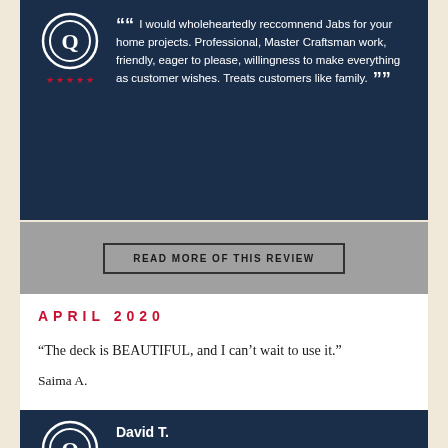“ I would wholeheartedly reccomnend Jabs for your home projects. Professional, Master Craftsman work, friendly, eager to please, willingness to make everything as customer wishes. Treats customers like family. ”
READ MORE OF THIS REVIEW
APRIL 2020
“The deck is BEAUTIFUL, and I can’t wait to use it.”
Saima A.
MARCH 2020
David T.
“ Jabs puts together and manages a great team. Very high quality product. Great